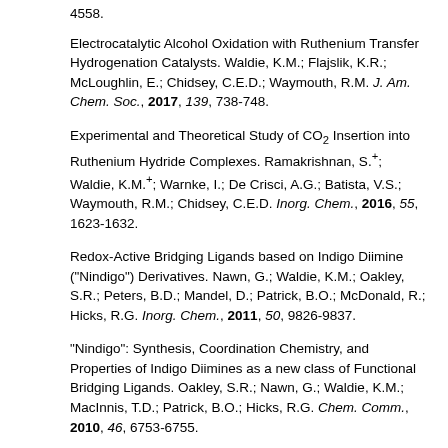4558.
Electrocatalytic Alcohol Oxidation with Ruthenium Transfer Hydrogenation Catalysts. Waldie, K.M.; Flajslik, K.R.; McLoughlin, E.; Chidsey, C.E.D.; Waymouth, R.M. J. Am. Chem. Soc., 2017, 139, 738-748.
Experimental and Theoretical Study of CO2 Insertion into Ruthenium Hydride Complexes. Ramakrishnan, S.+; Waldie, K.M.+; Warnke, I.; De Crisci, A.G.; Batista, V.S.; Waymouth, R.M.; Chidsey, C.E.D. Inorg. Chem., 2016, 55, 1623-1632.
Redox-Active Bridging Ligands based on Indigo Diimine ("Nindigo") Derivatives. Nawn, G.; Waldie, K.M.; Oakley, S.R.; Peters, B.D.; Mandel, D.; Patrick, B.O.; McDonald, R.; Hicks, R.G. Inorg. Chem., 2011, 50, 9826-9837.
"Nindigo": Synthesis, Coordination Chemistry, and Properties of Indigo Diimines as a new class of Functional Bridging Ligands. Oakley, S.R.; Nawn, G.; Waldie, K.M.; MacInnis, T.D.; Patrick, B.O.; Hicks, R.G. Chem. Comm., 2010, 46, 6753-6755.